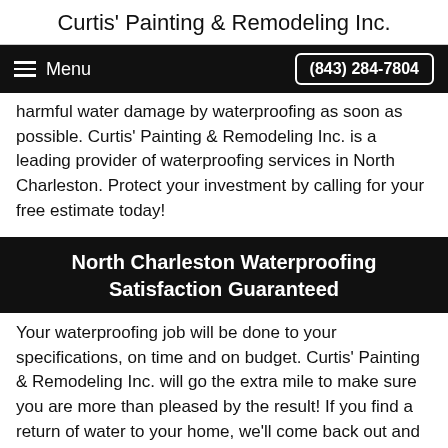Curtis' Painting & Remodeling Inc.
Menu  (843) 284-7804
harmful water damage by waterproofing as soon as possible. Curtis' Painting & Remodeling Inc. is a leading provider of waterproofing services in North Charleston. Protect your investment by calling for your free estimate today!
North Charleston Waterproofing Satisfaction Guaranteed
Your waterproofing job will be done to your specifications, on time and on budget. Curtis' Painting & Remodeling Inc. will go the extra mile to make sure you are more than pleased by the result! If you find a return of water to your home, we'll come back out and remedy the situation.